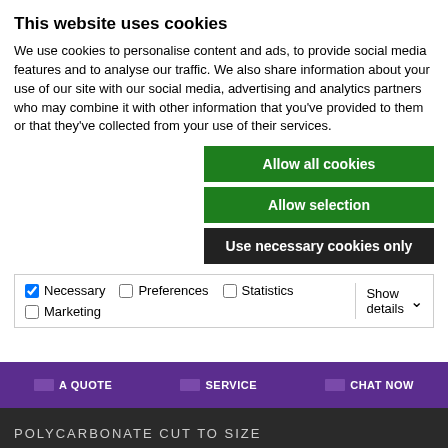This website uses cookies
We use cookies to personalise content and ads, to provide social media features and to analyse our traffic. We also share information about your use of our site with our social media, advertising and analytics partners who may combine it with other information that you’ve provided to them or that they’ve collected from your use of their services.
Allow all cookies
Allow selection
Use necessary cookies only
| Necessary | Preferences | Statistics | Show details |
| Marketing |  |  |  |
A QUOTE   SERVICE   CHAT NOW
POLYCARBONATE CUT TO SIZE
ABOUT POLYCARBONATE